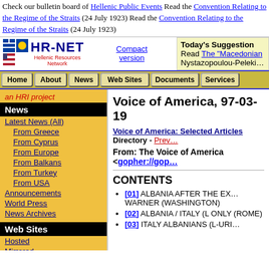Check our bulletin board of Hellenic Public Events Read the Convention Relating to the Regime of the Straits (24 July 1923) Read the Convention Relating to the Regime of the Straits (24 July 1923)
[Figure (screenshot): HR-NET Hellenic Resources Network logo with Greek, EU, US, and Cyprus flags]
Today's Suggestion Read The "Macedonian" Nystazopoulou-Peleki…
[Figure (screenshot): Navigation bar with Home, About, News, Web Sites, Documents, Services buttons]
an HRI project
News
Latest News (All)
From Greece
From Cyprus
From Europe
From Balkans
From Turkey
From USA
Announcements
World Press
News Archives
Web Sites
Hosted
Mirrored
Voice of America, 97-03-19
Voice of America: Selected Articles Directory - Prev…
From: The Voice of America <gopher://gop…
CONTENTS
[01] ALBANIA AFTER THE EX… WARNER (WASHINGTON)
[02] ALBANIA / ITALY (L ONLY (ROME)
[03] ITALY ALBANIANS (L-URI…